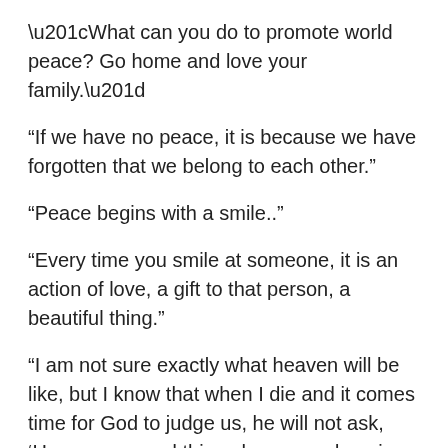“What can you do to promote world peace?  Go home and love your family.”
“If we have no peace, it is because we have forgotten that we belong to each other.”
“Peace begins with a smile..”
“Every time you smile at someone, it is an action of love, a gift to that person, a beautiful thing.”
“I am not sure exactly what heaven will be like, but I know that when I die and it comes time for God to judge us, he will not ask, ‘How many good things have you done in your life?’  rather he will ask, ‘How much love did you put into what you did?”
“Not all of us can do great things.  But we can do small